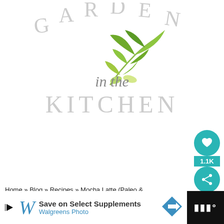[Figure (logo): Garden in the Kitchen logo with leaf illustration, arched GARDEN text, cursive 'in the' script, and KITCHEN text in light gray]
[Figure (infographic): Teal circular social save button with heart icon, count 1.1K, and share button below]
Home » Blog » Recipes » Mocha Latte (Paleo & Whole30)
[Figure (infographic): What's Next widget showing Whole30 Paleo Low-Carb...]
Mocha Latte (Paleo &
[Figure (infographic): Walgreens ad banner: Save on Select Supplements, Walgreens Photo]